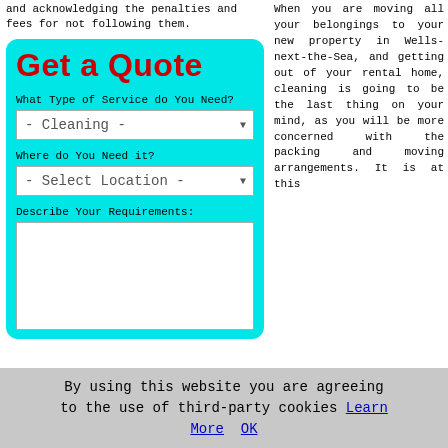and acknowledging the penalties and fees for not following them.
[Figure (screenshot): Get a Quote web form with cyan background, containing title 'Get a Quote' in bold red, fields for service type (dropdown: - Cleaning -), location (dropdown: - Select Location -), and a textarea for requirements description.]
When you are moving all your belongings to your new property in Wells-next-the-Sea, and getting out of your rental home, cleaning is going to be the last thing on your mind, as you will be more concerned with the packing and moving arrangements. It is at this
By using this website you are agreeing to the use of third-party cookies Learn More  OK